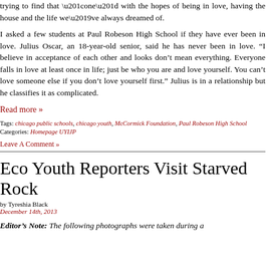trying to find that “one” with the hopes of being in love, having the house and the life we’ve always dreamed of.
I asked a few students at Paul Robeson High School if they have ever been in love. Julius Oscar, an 18-year-old senior, said he has never been in love. “I believe in acceptance of each other and looks don’t mean everything. Everyone falls in love at least once in life; just be who you are and love yourself. You can’t love someone else if you don’t love yourself first.” Julius is in a relationship but he classifies it as complicated.
Read more »
Tags: chicago public schools, chicago youth, McCormick Foundation, Paul Robeson High School
Categories: Homepage UYIJP
Leave A Comment »
Eco Youth Reporters Visit Starved Rock
by Tyreshia Black
December 14th, 2013
Editor’s Note: The following photographs were taken during a